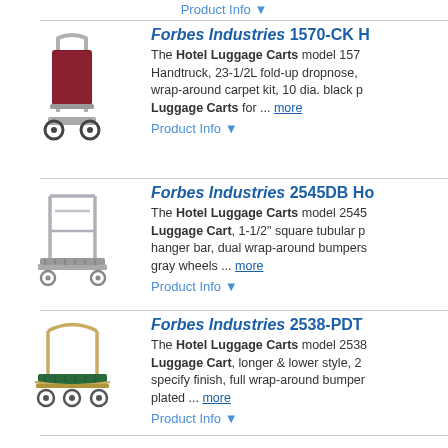Product Info ▼
[Figure (photo): Forbes Industries 1570-CK Hotel Luggage Handtruck product image - maroon padded cart with wheels]
Forbes Industries 1570-CK H... The Hotel Luggage Carts model 1570- Handtruck, 23-1/2L fold-up dropnose, wrap-around carpet kit, 10 dia. black p Luggage Carts for ... more
Product Info ▼
[Figure (photo): Forbes Industries 2545DB Hotel Luggage Cart product image - silver/chrome frame luggage cart]
Forbes Industries 2545DB Ho... The Hotel Luggage Carts model 2545- Luggage Cart, 1-1/2" square tubular p hanger bar, dual wrap-around bumpers gray wheels ... more
Product Info ▼
[Figure (photo): Forbes Industries 2538-PDT Hotel Luggage Cart product image - gold arch frame luggage cart with green carpet]
Forbes Industries 2538-PDT... The Hotel Luggage Carts model 2538- Luggage Cart, longer & lower style, 2 specify finish, full wrap-around bumper plated ... more
Product Info ▼
[Figure (photo): No Image Available placeholder for Forbes Industries 1566-CK-S]
Forbes Industries 1566-CK-S... The Hotel Luggage Carts model 1566- Handtruck, 29L fold-up dropnose, 1 br wrap-around carpet kit, 10 dia. black p The ... more